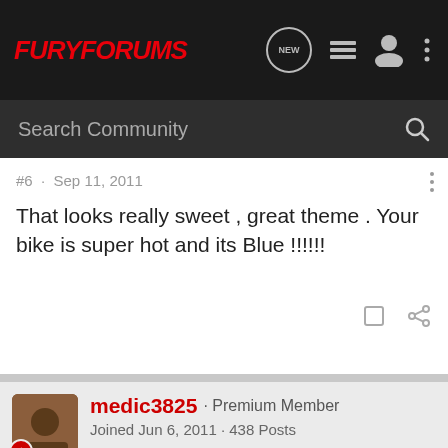[Figure (screenshot): FuryForums navigation bar with logo and icons]
Search Community
#6 · Sep 11, 2011
That looks really sweet , great theme . Your bike is super hot and its Blue !!!!!!
medic3825 · Premium Member
Joined Jun 6, 2011 · 438 Posts
#7 · Sep